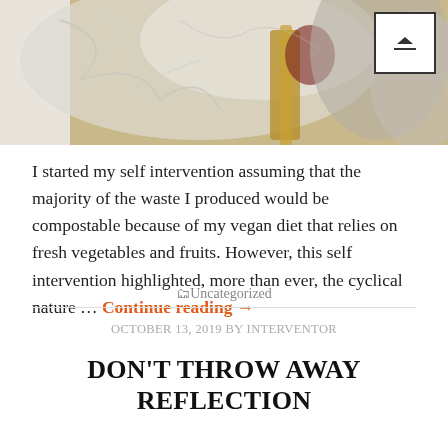[Figure (photo): Photo of waste/garbage items including plastic bags and other materials, partially obscured, with a white scroll-to-top button overlay in the top right corner]
I started my self intervention assuming that the majority of the waste I produced would be compostable because of my vegan diet that relies on fresh vegetables and fruits. However, this self intervention highlighted, more than ever, the cyclical nature … Continue reading →
Uncategorized
OCTOBER 13, 2019 BY INTERVENTOR
DON'T THROW AWAY REFLECTION